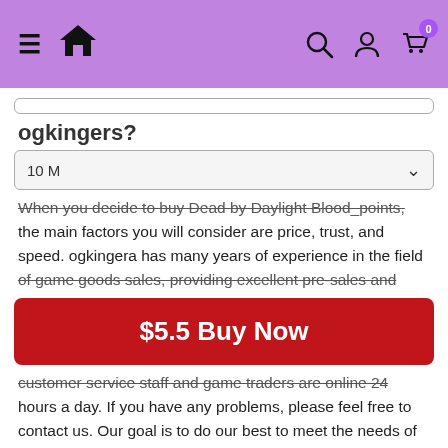[Figure (screenshot): Website navigation bar with purple background, hamburger menu, home icon, search icon, user icon, and cart icon with badge showing 0]
[Figure (screenshot): Search box input field]
ogkingers?
[Figure (screenshot): Dropdown selector showing '10 M' with a chevron arrow]
When you decide to buy Dead by Daylight Blood_points, the main factors you will consider are price, trust, and speed. ogkingera has many years of experience in the field of game goods sales, providing excellent pre-sales and
[Figure (screenshot): Red buy button with white text: $5.5 Buy Now]
customer service staff and game traders are online 24 hours a day. If you have any problems, please feel free to contact us. Our goal is to do our best to meet the needs of our customers.
Cheap Dead by Daylight Blood_points with Fast delivery service
We understand the customer's concern for price, we go the extra mile to make sure you are getting the best deal. We have been in business for many years, many game